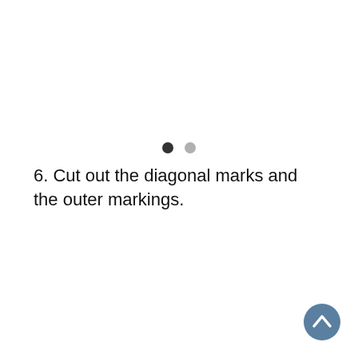[Figure (other): Two pagination dots: one dark (active) and one light gray (inactive)]
6. Cut out the diagonal marks and the outer markings.
[Figure (other): Back to top button: a dark steel-blue circle with an upward-pointing chevron arrow]